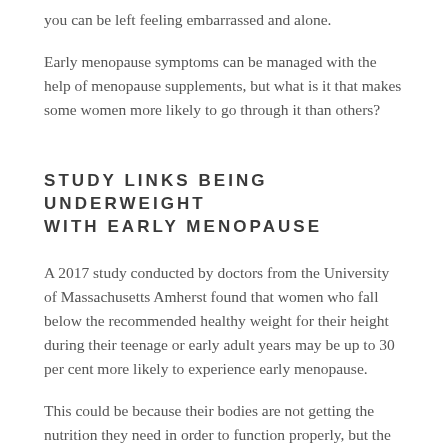you can be left feeling embarrassed and alone.
Early menopause symptoms can be managed with the help of menopause supplements, but what is it that makes some women more likely to go through it than others?
STUDY LINKS BEING UNDERWEIGHT WITH EARLY MENOPAUSE
A 2017 study conducted by doctors from the University of Massachusetts Amherst found that women who fall below the recommended healthy weight for their height during their teenage or early adult years may be up to 30 per cent more likely to experience early menopause.
This could be because their bodies are not getting the nutrition they need in order to function properly, but the researchers acknowledged that further research would be needed to determine whether the link is direct or